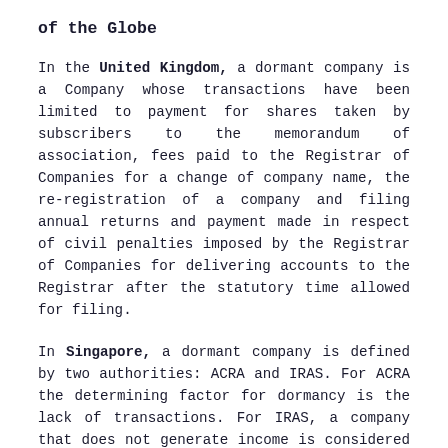of the Globe
In the United Kingdom, a dormant company is a Company whose transactions have been limited to payment for shares taken by subscribers to the memorandum of association, fees paid to the Registrar of Companies for a change of company name, the re-registration of a company and filing annual returns and payment made in respect of civil penalties imposed by the Registrar of Companies for delivering accounts to the Registrar after the statutory time allowed for filing.
In Singapore, a dormant company is defined by two authorities: ACRA and IRAS. For ACRA the determining factor for dormancy is the lack of transactions. For IRAS, a company that does not generate income is considered dormant. The